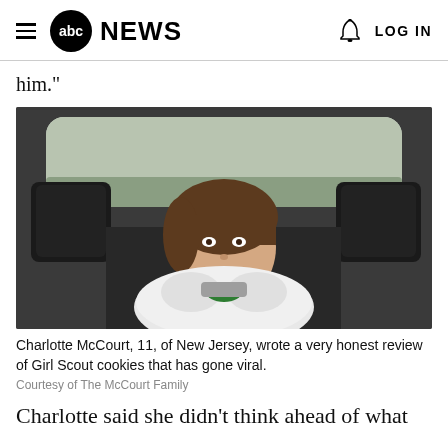abc NEWS  LOG IN
him."
[Figure (photo): A young girl with short brown hair smiling in the back seat of a car, wearing a white fluffy coat. Outside the car window is a wintry landscape.]
Charlotte McCourt, 11, of New Jersey, wrote a very honest review of Girl Scout cookies that has gone viral.
Courtesy of The McCourt Family
Charlotte said she didn't think ahead of what